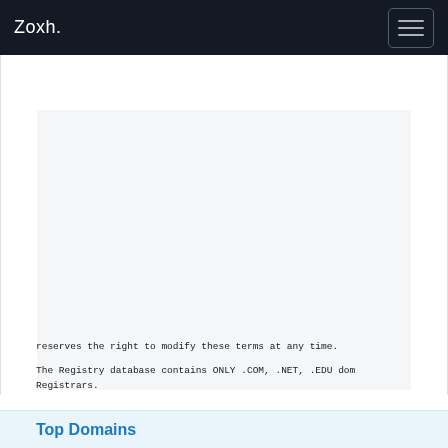Zoxh.
reserves the right to modify these terms at any time.

The Registry database contains ONLY .COM, .NET, .EDU dom Registrars.
Top Domains